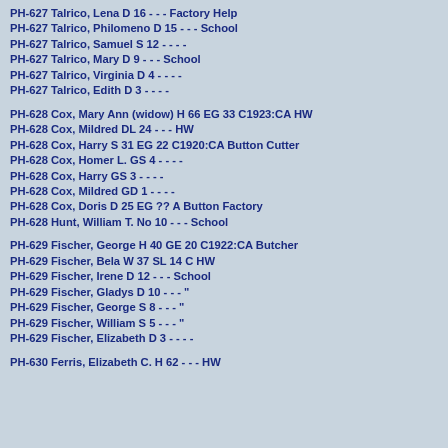PH-627 Talrico, Lena D 16 - - - Factory Help
PH-627 Talrico, Philomeno D 15 - - - School
PH-627 Talrico, Samuel S 12 - - - -
PH-627 Talrico, Mary D 9 - - - School
PH-627 Talrico, Virginia D 4 - - - -
PH-627 Talrico, Edith D 3 - - - -
PH-628 Cox, Mary Ann (widow) H 66 EG 33 C1923:CA HW
PH-628 Cox, Mildred DL 24 - - - HW
PH-628 Cox, Harry S 31 EG 22 C1920:CA Button Cutter
PH-628 Cox, Homer L. GS 4 - - - -
PH-628 Cox, Harry GS 3 - - - -
PH-628 Cox, Mildred GD 1 - - - -
PH-628 Cox, Doris D 25 EG ?? A Button Factory
PH-628 Hunt, William T. No 10 - - - School
PH-629 Fischer, George H 40 GE 20 C1922:CA Butcher
PH-629 Fischer, Bela W 37 SL 14 C HW
PH-629 Fischer, Irene D 12 - - - School
PH-629 Fischer, Gladys D 10 - - - "
PH-629 Fischer, George S 8 - - - "
PH-629 Fischer, William S 5 - - - "
PH-629 Fischer, Elizabeth D 3 - - - -
PH-630 Ferris, Elizabeth C. H 62 - - - HW